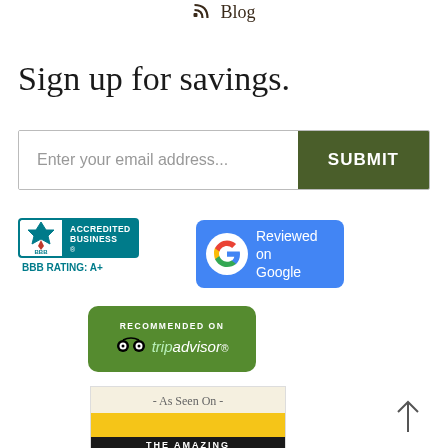Blog
Sign up for savings.
Enter your email address... SUBMIT
[Figure (logo): BBB Accredited Business badge with teal background and flame icon. BBB RATING: A+]
[Figure (logo): Reviewed on Google badge with blue background and Google G logo]
[Figure (logo): Recommended on TripAdvisor green badge with owl icon]
[Figure (logo): As Seen On - The Amazing Race badge with black and yellow coloring]
↑ (back to top arrow)